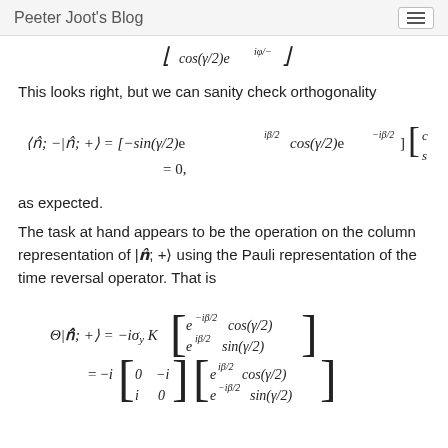Peeter Joot's Blog
This looks right, but we can sanity check orthogonality
as expected.
The task at hand appears to be the operation on the column representation of |n̂; +⟩ using the Pauli representation of the time reversal operator. That is